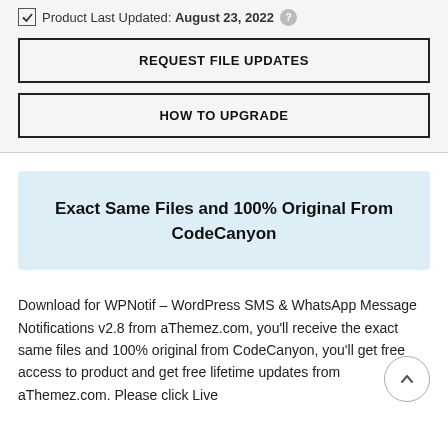Product Last Updated: August 23, 2022
REQUEST FILE UPDATES
HOW TO UPGRADE
Exact Same Files and 100% Original From CodeCanyon
Download for WPNotif – WordPress SMS & WhatsApp Message Notifications v2.8 from aThemez.com, you'll receive the exact same files and 100% original from CodeCanyon, you'll get free access to product and get free lifetime updates from aThemez.com. Please click Live